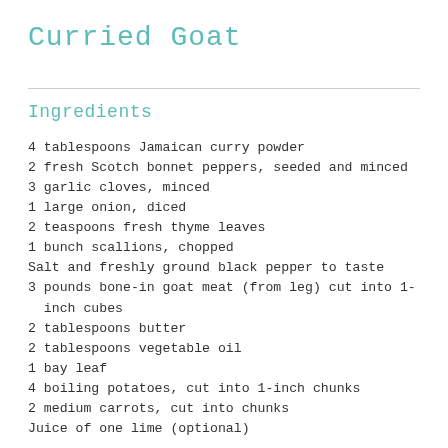Curried Goat
Ingredients
4 tablespoons Jamaican curry powder
2 fresh Scotch bonnet peppers, seeded and minced
3 garlic cloves, minced
1 large onion, diced
2 teaspoons fresh thyme leaves
1 bunch scallions, chopped
Salt and freshly ground black pepper to taste
3 pounds bone-in goat meat (from leg) cut into 1-inch cubes
2 tablespoons butter
2 tablespoons vegetable oil
1 bay leaf
4 boiling potatoes, cut into 1-inch chunks
2 medium carrots, cut into chunks
Juice of one lime (optional)